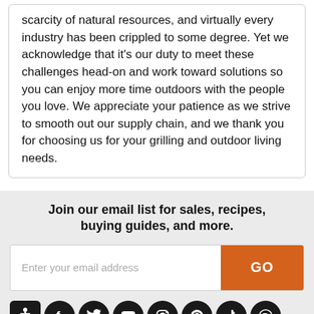scarcity of natural resources, and virtually every industry has been crippled to some degree. Yet we acknowledge that it's our duty to meet these challenges head-on and work toward solutions so you can enjoy more time outdoors with the people you love. We appreciate your patience as we strive to smooth out our supply chain, and we thank you for choosing us for your grilling and outdoor living needs.
Join our email list for sales, recipes, buying guides, and more.
Enter your email address
GO
[Figure (illustration): Row of social media icons: accessibility icon, Facebook, Twitter, YouTube, Instagram, Pinterest, TikTok, Spotify — all dark circular buttons]